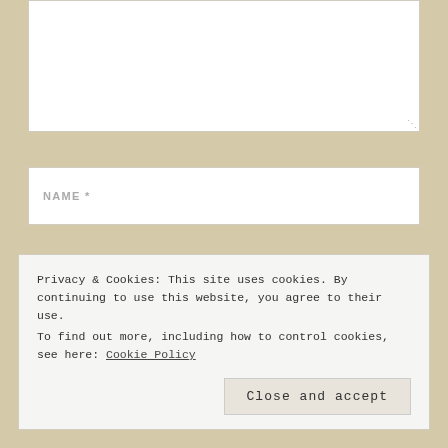[Figure (screenshot): A large empty textarea input box with a resize handle at bottom-right]
NAME *
EMAIL *
WEBSITE
Privacy & Cookies: This site uses cookies. By continuing to use this website, you agree to their use.
To find out more, including how to control cookies, see here: Cookie Policy
Close and accept